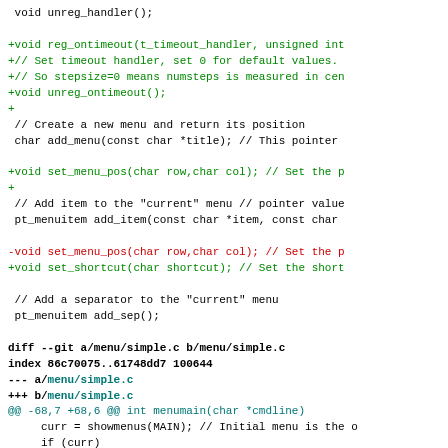[Figure (other): Source code diff showing C header and implementation changes, with color-coded lines: default (black) for context, green for additions (+), red for deletions (-), blue for diff headers, and cyan for file paths.]